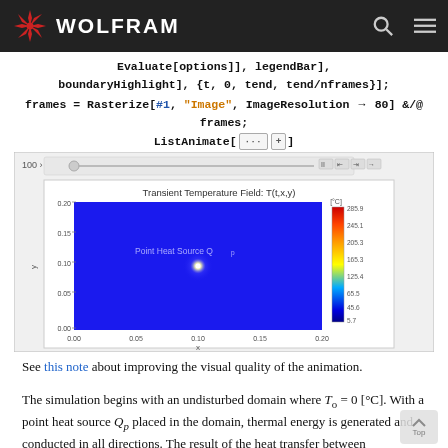WOLFRAM
Evaluate[options]], legendBar],
boundaryHighlight], {t, 0, tend, tend/nframes}];
frames = Rasterize[#1, "Image", ImageResolution → 80] &/@ frames;
ListAnimate[ ... ]
[Figure (other): Wolfram Mathematica animation output showing a transient temperature field T(t,x,y) with a color plot. A blue square domain with a white hot spot at center labeled 'Point Heat Source Q_p'. Color bar on right shows temperature in [°C] ranging from 5.7 to 285.9. X-axis labeled 'x' with values 0.00 to 0.20, Y-axis values 0.00 to 0.20. Title: Transient Temperature Field: T(t,x,y).]
See this note about improving the visual quality of the animation.
The simulation begins with an undisturbed domain where T_o = 0 [°C]. With a point heat source Q_p placed in the domain, thermal energy is generated and conducted in all directions. The result of the heat transfer between ...